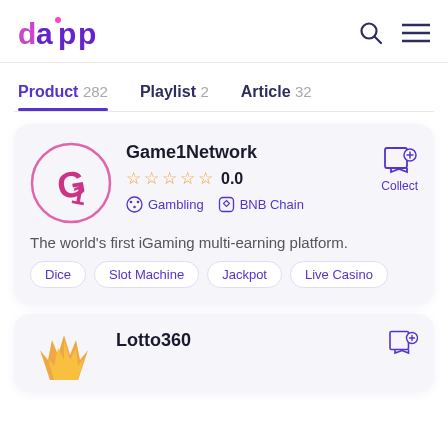dapp
Product 282   Playlist 2   Article 32
Game1Network
★★★★★ 0.0
Gambling   BNB Chain
The world's first iGaming multi-earning platform.
Dice   Slot Machine   Jackpot   Live Casino
Lotto360